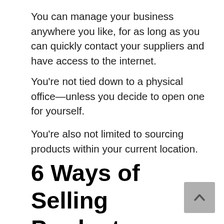You can manage your business anywhere you like, for as long as you can quickly contact your suppliers and have access to the internet.
You're not tied down to a physical office—unless you decide to open one for yourself.
You're also not limited to sourcing products within your current location.
6 Ways of Selling Products Online Without Inventory